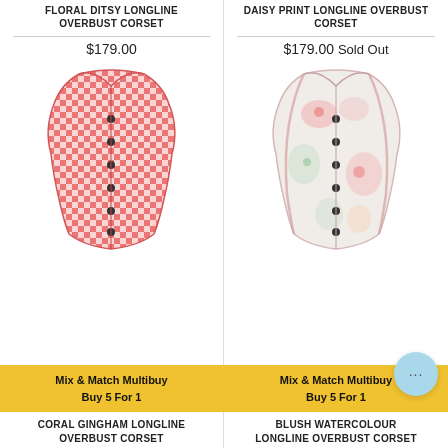FLORAL DITSY LONGLINE OVERBUST CORSET
DAISY PRINT LONGLINE OVERBUST CORSET
$179.00
$179.00 Sold Out
[Figure (photo): Coral gingham longline overbust corset with busk front fastening]
[Figure (photo): Blush watercolour floral longline overbust corset with busk front fastening]
Mix & Match Multibuy
Buy 5 For 1
Mix & Match Multibuy
Buy 5 For 1
CORAL GINGHAM LONGLINE OVERBUST CORSET
BLUSH WATERCOLOUR LONGLINE OVERBUST CORSET